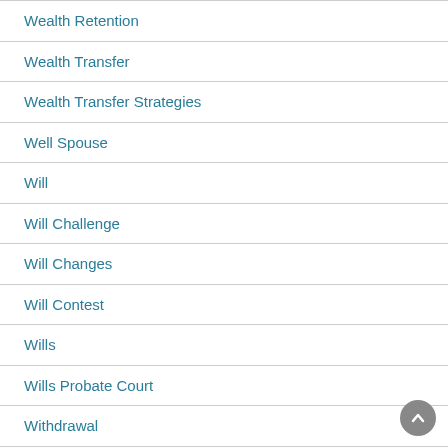Wealth Retention
Wealth Transfer
Wealth Transfer Strategies
Well Spouse
Will
Will Challenge
Will Changes
Will Contest
Wills
Wills Probate Court
Withdrawal
Withdrawals
Witness